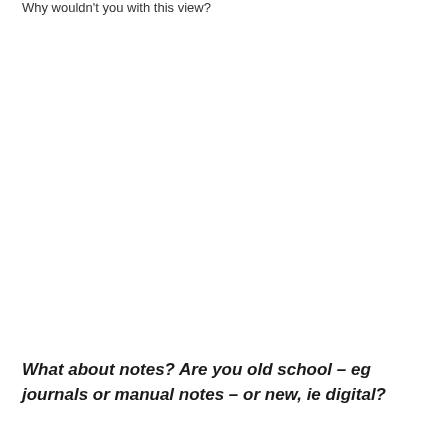Why wouldn't you with this view?
What about notes? Are you old school – eg journals or manual notes – or new, ie digital?